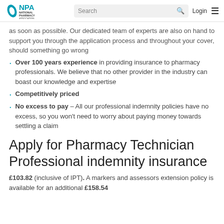NPA National Pharmacy Association | Search | Login
as soon as possible. Our dedicated team of experts are also on hand to support you through the application process and throughout your cover, should something go wrong
Over 100 years experience in providing insurance to pharmacy professionals. We believe that no other provider in the industry can boast our knowledge and expertise
Competitively priced
No excess to pay – All our professional indemnity policies have no excess, so you won't need to worry about paying money towards settling a claim
Apply for Pharmacy Technician Professional indemnity insurance
£103.82 (inclusive of IPT). A markers and assessors extension policy is available for an additional £158.54